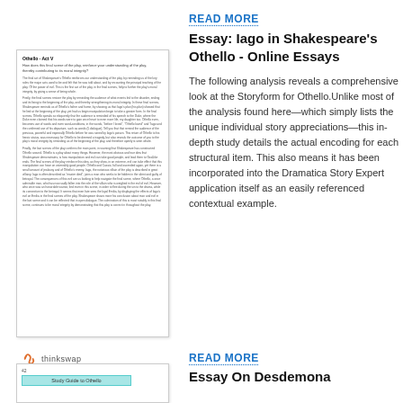[Figure (screenshot): Scanned document thumbnail: Othello Act V essay with dense small text]
READ MORE
Essay: Iago in Shakespeare's Othello - Online Essays
The following analysis reveals a comprehensive look at the Storyform for Othello.Unlike most of the analysis found here—which simply lists the unique individual story appreciations—this in-depth study details the actual encoding for each structural item. This also means it has been incorporated into the Dramatica Story Expert application itself as an easily referenced contextual example.
[Figure (screenshot): Document thumbnail showing Study Guide to Othello with teal header bar]
READ MORE
Essay On Desdemona